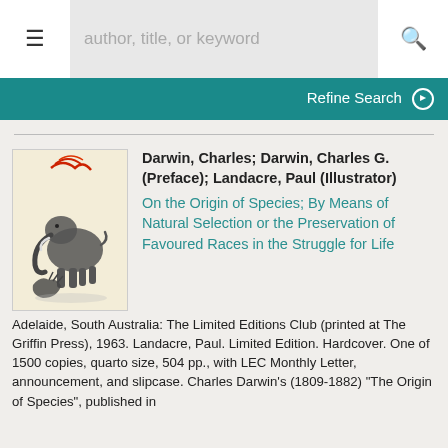author, title, or keyword | Refine Search
[Figure (photo): Book cover illustration showing a fantastical creature resembling a mammoth or elephant with a long trunk, accompanied by a crouching creature, with red flame-like designs at the top. Cream/beige background.]
Darwin, Charles; Darwin, Charles G. (Preface); Landacre, Paul (Illustrator)
On the Origin of Species; By Means of Natural Selection or the Preservation of Favoured Races in the Struggle for Life
Adelaide, South Australia: The Limited Editions Club (printed at The Griffin Press), 1963. Landacre, Paul. Limited Edition. Hardcover. One of 1500 copies, quarto size, 504 pp., with LEC Monthly Letter, announcement, and slipcase. Charles Darwin's (1809-1882) "The Origin of Species", published in